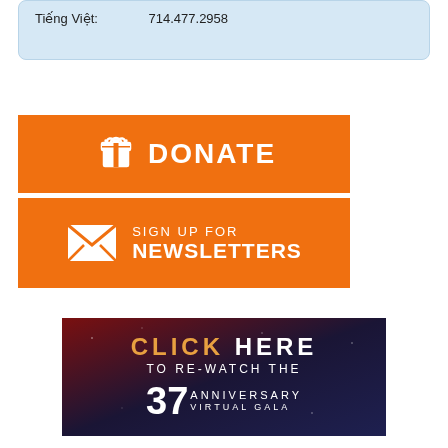Tiếng Việt:    714.477.2958
[Figure (infographic): Orange DONATE button with gift box icon and white text]
[Figure (infographic): Orange SIGN UP FOR NEWSLETTERS button with envelope icon and white text]
[Figure (infographic): Dark banner with text: CLICK HERE TO RE-WATCH THE 37th ANNIVERSARY VIRTUAL GALA]